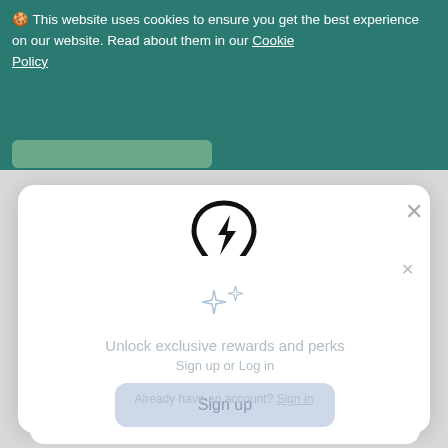🍪 This website uses cookies to ensure you get the best experience on our website. Read about them in our Cookie Policy
[Figure (screenshot): Location pin icon with lightning bolt inside, black outline on white background]
[Figure (illustration): Sparkle / stars decorative icon in light blue/gray]
Unlock exclusive rewards and perks
Sign up or Log in
Sign up
Already have an account? Sign in